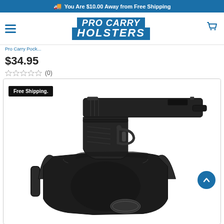You Are $10.00 Away from Free Shipping
[Figure (logo): Pro Carry Holsters logo with blue background and italic white text]
Pro Carry Pock...
$34.95
(0)
[Figure (photo): Black leather gun holster with a semi-automatic pistol inserted, showing belt slots on either side. A 'Free Shipping.' badge appears in the top-left corner.]